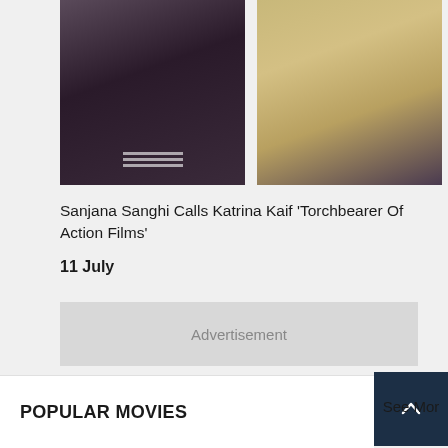[Figure (photo): Two celebrity photos side by side: left photo shows a woman in black outfit with dark hair, right photo shows a woman in floral yellow dress with hoop earrings]
Sanjana Sanghi Calls Katrina Kaif 'Torchbearer Of Action Films'
11 July
Advertisement
POPULAR MOVIES
See Mor